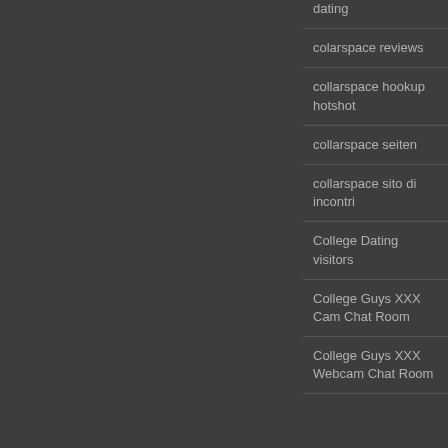dating
colarspace reviews
collarspace hookup hotshot
collarspace seiten
collarspace sito di incontri
College Dating visitors
College Guys XXX Cam Chat Room
College Guys XXX Webcam Chat Room